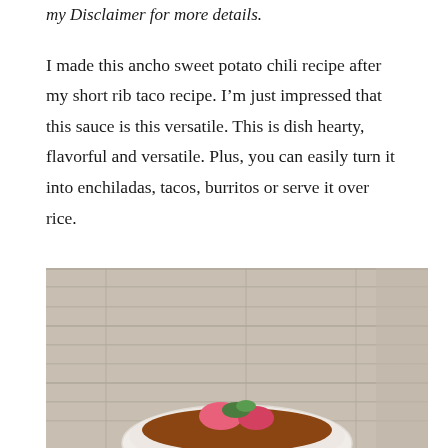my Disclaimer for more details.
I made this ancho sweet potato chili recipe after my short rib taco recipe. I'm just impressed that this sauce is this versatile. This is dish hearty, flavorful and versatile. Plus, you can easily turn it into enchiladas, tacos, burritos or serve it over rice.
[Figure (photo): A white bowl of ancho sweet potato chili garnished with fresh herbs and bright pink/red pickled radishes, set on a light wooden surface background]